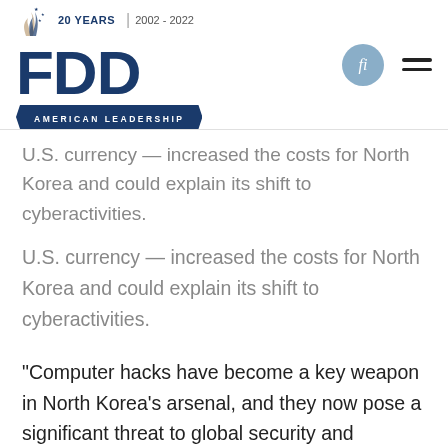FDD — AMERICAN LEADERSHIP | 20 YEARS 2002–2022
U.S. currency — increased the costs for North Korea and could explain its shift to cyberactivities.
“Computer hacks have become a key weapon in North Korea’s arsenal, and they now pose a significant threat to global security and stability,” White writes. Priscilla Moriuchi, a former analyst at the U.S. National Security Agency, tells White that Pyongyang’s “strategy is about utilizing its